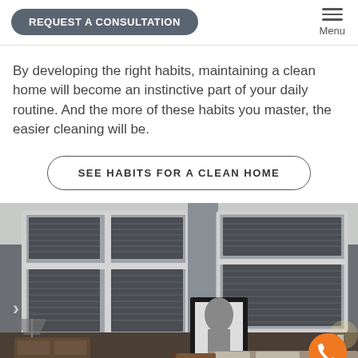REQUEST A CONSULTATION | Menu
By developing the right habits, maintaining a clean home will become an instinctive part of your daily routine. And the more of these habits you master, the easier cleaning will be.
SEE HABITS FOR A CLEAN HOME
[Figure (photo): Interior bedroom photo showing windows with dark cellular/honeycomb shades partially raised, a framed artwork leaning against the wall, a bed with neutral bedding, a small desk lamp, and an armchair. The room has gray-toned walls and white crown molding. Dark, moody lighting atmosphere.]